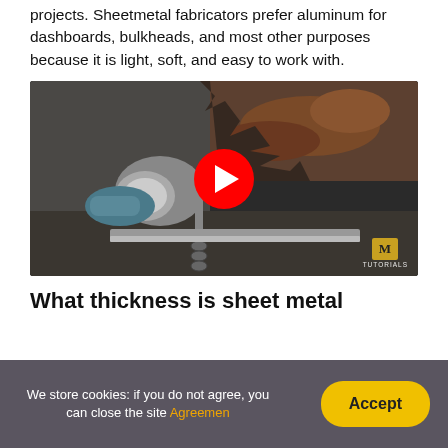projects. Sheetmetal fabricators prefer aluminum for dashboards, bulkheads, and most other purposes because it is light, soft, and easy to work with.
[Figure (screenshot): Video thumbnail showing a person using a grinder on a rusted car body panel, with a red YouTube play button overlay and a 'M TUTORIALS' watermark in the bottom right.]
What thickness is sheet metal
We store cookies: if you do not agree, you can close the site Agreemen